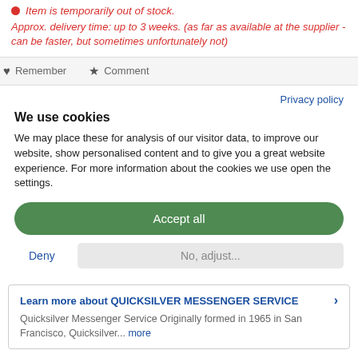Item is temporarily out of stock.
Approx. delivery time: up to 3 weeks. (as far as available at the supplier - can be faster, but sometimes unfortunately not)
Remember   Comment
Privacy policy
We use cookies
We may place these for analysis of our visitor data, to improve our website, show personalised content and to give you a great website experience. For more information about the cookies we use open the settings.
Accept all
Deny   No, adjust...
Learn more about QUICKSILVER MESSENGER SERVICE   > Quicksilver Messenger Service Originally formed in 1965 in San Francisco, Quicksilver... more